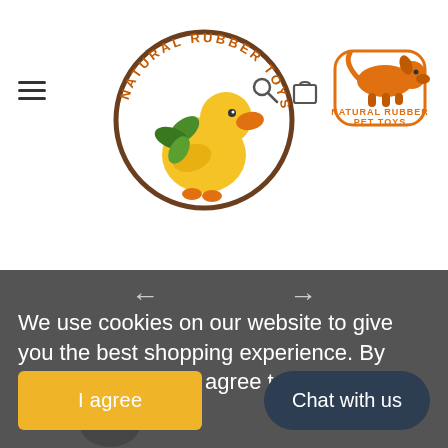[Figure (logo): Natural Rubber Toys logo — cartoon yellow duck with green leaves inside a brown circular text border reading NATURAL RUBBER TOYS]
[Figure (logo): Natural Rubber Pet Toys logo — cartoon dachshund dog on an orange badge]
We use cookies on our website to give you the best shopping experience. By using this site, you agree to its use of cookies.
I agree
Chat with us